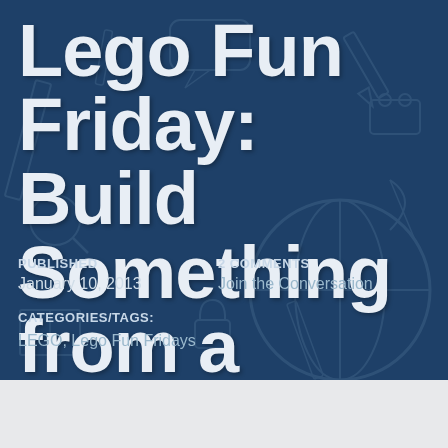Lego Fun Friday: Build Something from a Book
PUBLISHED
January 10, 2013
2 COMMENTS
Join the Conversation
CATEGORIES/TAGS:
LEGO, Lego Fun Fridays